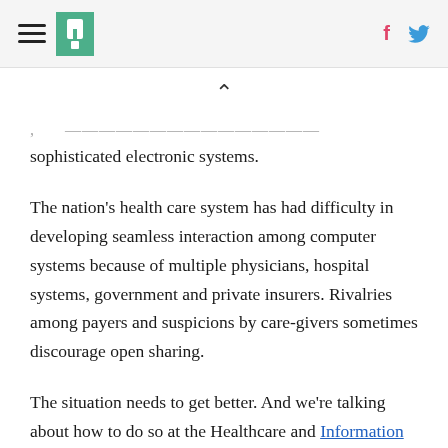[HuffPost logo and navigation header with hamburger menu, site logo, Facebook and Twitter icons]
sophisticated electronic systems.
The nation's health care system has had difficulty in developing seamless interaction among computer systems because of multiple physicians, hospital systems, government and private insurers. Rivalries among payers and suspicions by care-givers sometimes discourage open sharing.
The situation needs to get better. And we're talking about how to do so at the Healthcare and Information Management Systems Society Conference